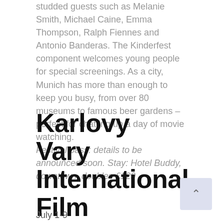studded guests such as Melanie Smith, Michael Caine, Emma Thompson, Ralph Fiennes and Antonio Banderas. The Kinderfest component welcomes young people for special screenings. As a city, Munich has more than enough to keep you busy, from over 80 museums to famous beer gardens – perfect for chatting up a day of movie watching. Festival pass: details to be announced soon. Stay: Hotel Buddy, downtown, doubles £129
Karlovy Vary International Film Festival, Czech Republic
July 1-9